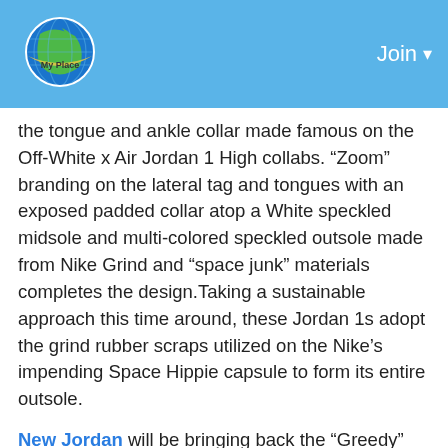Join
the tongue and ankle collar made famous on the Off-White x Air Jordan 1 High collabs. “Zoom” branding on the lateral tag and tongues with an exposed padded collar atop a White speckled midsole and multi-colored speckled outsole made from Nike Grind and “space junk” materials completes the design.Taking a sustainable approach this time around, these Jordan 1s adopt the grind rubber scraps utilized on the Nike’s impending Space Hippie capsule to form its entire outsole.
New Jordan will be bringing back the “Greedy” theme that originally debuted back in 2015 – for its 20th Anniversary.Nike Air Max 95 features a split design which includes the OG ‘Neon’ and [Black/Blue]...